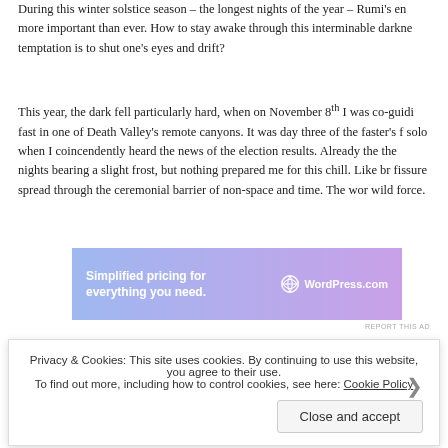During this winter solstice season – the longest nights of the year – Rumi's en more important than ever. How to stay awake through this interminable darkne temptation is to shut one's eyes and drift?
This year, the dark fell particularly hard, when on November 8th I was co-guidi fast in one of Death Valley's remote canyons. It was day three of the faster's f solo when I coincendently heard the news of the election results. Already the the nights bearing a slight frost, but nothing prepared me for this chill. Like br fissure spread through the ceremonial barrier of non-space and time. The wor wild force.
[Figure (other): WordPress.com advertisement banner: 'Simplified pricing for everything you need.' with WordPress logo]
And my thoughts rushed out, just as quickly. Thousands of people, I was certa streets protesting, doing important work, while I was isolated in the far reaches
Privacy & Cookies: This site uses cookies. By continuing to use this website, you agree to their use.
To find out more, including how to control cookies, see here: Cookie Policy
Close and accept